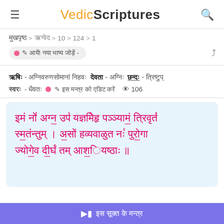VedicScriptures
मुखपृष्ठ > ऋग्वेद > 10 > 124 > 1
आयें! नया भाष्य जोड़ें -
ऋषिः - अग्निवरुणसोमानां निहवः  देवता - अग्निः  छन्दः - त्रिष्टुप्  स्वरः - धैवतः   इस मन्त्र को एडिट करें   © 106
इमं नो अग्न उपं यज्ञमेिहृ पञ्यामं त्रिवृतं स्मतंन्तुम् । असों हव्यवाळुत नः पुरोगा ज्योगेव दीर्घं तम् आशियष्ठाः ॥
इस सूक्त के मन्त्र